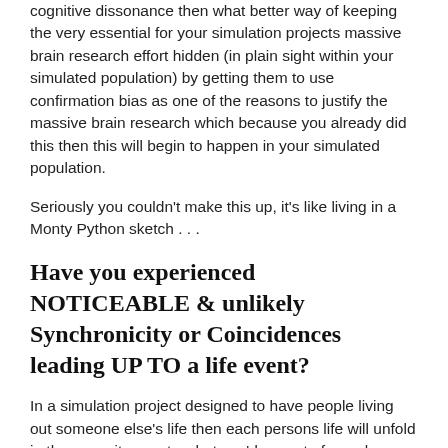cognitive dissonance then what better way of keeping the very essential for your simulation projects massive brain research effort hidden (in plain sight within your simulated population) by getting them to use confirmation bias as one of the reasons to justify the massive brain research which because you already did this then this will begin to happen in your simulated population.
Seriously you couldn't make this up, it's like living in a Monty Python sketch . . .
Have you experienced NOTICEABLE & unlikely Synchronicity or Coincidences leading UP TO a life event?
In a simulation project designed to have people living out someone else's life then each persons life will unfold in the opposite way to what you'd expect of a real person living on a real world. This is because they will already have all of their life events and experiences pre defined by their script.